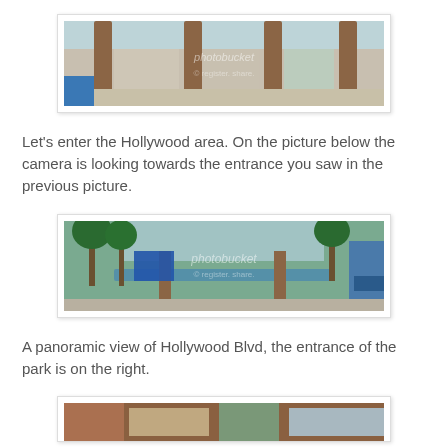[Figure (photo): Panoramic photo of a theme park entrance area with brick columns and glass canopy roof, appears to be Hollywood area entrance. Photobucket watermark visible.]
Let's enter the Hollywood area. On the picture below the camera is looking towards the entrance you saw in the previous picture.
[Figure (photo): Panoramic photo of Hollywood Blvd inside a theme park, showing palm trees, large glass canopy structure, and blue building on right. Photobucket watermark visible.]
A panoramic view of Hollywood Blvd, the entrance of the park is on the right.
[Figure (photo): Partially visible panoramic photo at bottom of page, showing theme park area.]